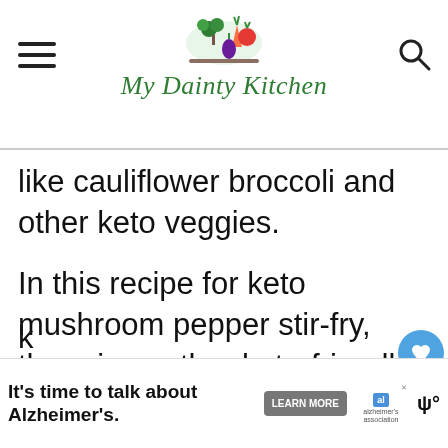[Figure (logo): My Dainty Kitchen logo with vegetable illustration and cursive green text]
like cauliflower broccoli and other keto veggies.
In this recipe for keto mushroom pepper stir-fry, there is another keto-friendly vegetable, i.e. peppers. Bell Peppers are a[low] in carbs and perfect to eat in the k[eto diet]
[Figure (infographic): What's Next widget showing Zucchini Stir Fry with thumbnail image]
[Figure (screenshot): Advertisement banner: It's time to talk about Alzheimer's. with Learn More button and Alzheimer's Association logo]